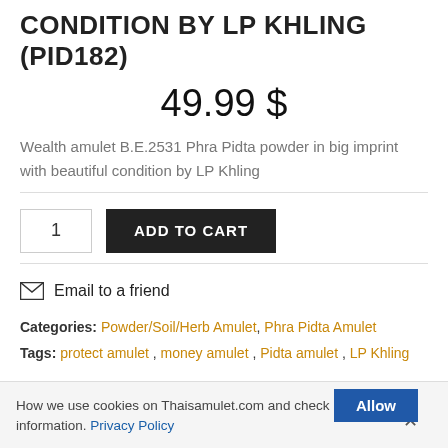CONDITION BY LP KHLING (PID182)
49.99 $
Wealth amulet B.E.2531 Phra Pidta powder in big imprint with beautiful condition by LP Khling
1  ADD TO CART
Email to a friend
Categories: Powder/Soil/Herb Amulet, Phra Pidta Amulet
Tags: protect amulet, money amulet, Pidta amulet, LP Khling
How we use cookies on Thaisamulet.com and check more information. Privacy Policy